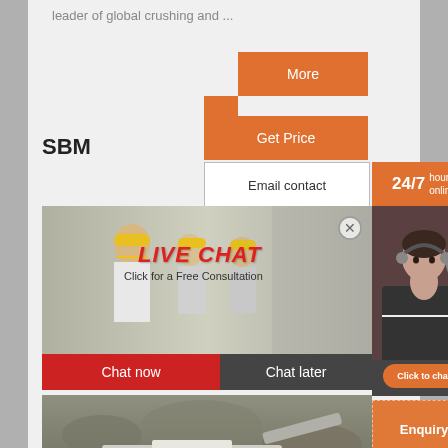leader of global crushing and ...
More
Get Price
SBM
Email contact
24/7 hour online
[Figure (photo): Live chat banner with workers in yellow hard hats and LIVE CHAT text in red, with 'Click for a Free Consultation' subtitle, Chat now and Chat later buttons]
[Figure (photo): Customer service agent with headset on orange/dark background]
Click to chat
Enquiry
mumumugoods@gmail.com
[Figure (photo): Mining/crushing machine equipment in industrial setting]